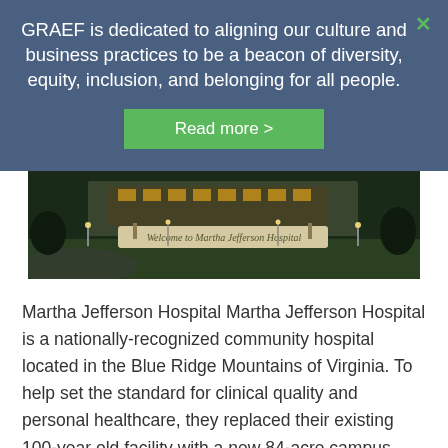GRAEF is dedicated to aligning our culture and business practices to be a beacon of diversity, equity, inclusion, and belonging for all people.
[Figure (photo): Exterior sign reading 'Welcome to Martha Jefferson Hospital' at twilight with green lawn and building in background.]
Martha Jefferson Hospital Martha Jefferson Hospital is a nationally-recognized community hospital located in the Blue Ridge Mountains of Virginia. To help set the standard for clinical quality and personal healthcare, they replaced their existing 100-year old facility with a new 84-acre campus near Thomas Jefferson's world-renowned estate, Monticello. The campus plan was to create a hospital...